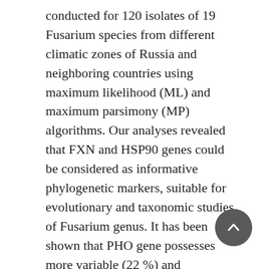conducted for 120 isolates of 19 Fusarium species from different climatic zones of Russia and neighboring countries using maximum likelihood (ML) and maximum parsimony (MP) algorithms. Our analyses revealed that FXN and HSP90 genes could be considered as informative phylogenetic markers, suitable for evolutionary and taxonomic studies of Fusarium genus. It has been shown that PHO gene possesses more variable (22 %) and parsimony informative (19 %) characters than other markers, including TEF1α (12 % and 9 %, correspondingly) when used for elucidating phylogenetic relationships between F. avenaceum and its closest relatives – F. tricinctum, F. acuminatum, F. torulosum. Application of novel DNA barcodes confirmed the fact that F. arthrosporioides do not represent a separate species but only a subspecies of F. avenaceum. Phylogeny based on partial PHO and FXN sequences revealed the